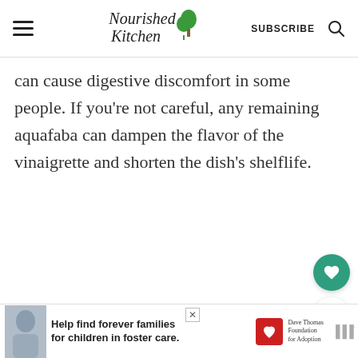Nourished Kitchen | SUBSCRIBE
can cause digestive discomfort in some people. If you're not careful, any remaining aquafaba can dampen the flavor of the vinaigrette and shorten the dish's shelflife.
WHAT'S NEXT → Flaugnarde
[Figure (other): Advertisement banner: Help find forever families for children in foster care. Dave Thomas Foundation for Adoption logo.]